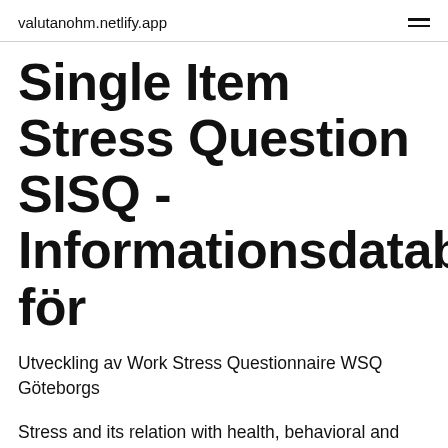valutanohm.netlify.app
Single Item Stress Question SISQ - Informationsdatabas för
Utveckling av Work Stress Questionnaire WSQ Göteborgs
Stress and its relation with health, behavioral and environmental factors are known today. The stress